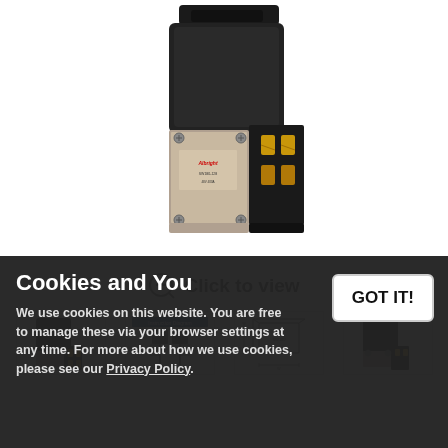[Figure (photo): Product photo of a black electrical contactor/solenoid switch with gold terminals and metal mounting plate, shown at a 3/4 angle against white background]
Click to view
[Figure (photo): Thumbnail 1: small side-view photo of the black contactor switch]
[Figure (photo): Thumbnail 2: diagram/schematic with blue header text]
[Figure (engineering-diagram): Thumbnail 3: technical dimension drawing of the contactor]
[Figure (photo): Thumbnail 4: another angle photo of the contactor switch]
Cookies and You
We use cookies on this website. You are free to manage these via your browser settings at any time. For more about how we use cookies, please see our Privacy Policy.